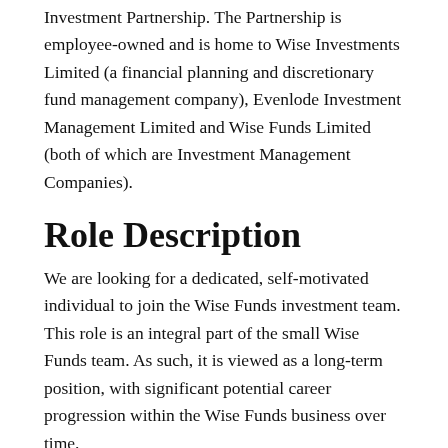Investment Partnership. The Partnership is employee-owned and is home to Wise Investments Limited (a financial planning and discretionary fund management company), Evenlode Investment Management Limited and Wise Funds Limited (both of which are Investment Management Companies).
Role Description
We are looking for a dedicated, self-motivated individual to join the Wise Funds investment team. This role is an integral part of the small Wise Funds team. As such, it is viewed as a long-term position, with significant potential career progression within the Wise Funds business over time.
As a Senior Investment Analyst, your primary responsibility will be to provide high quality analysis for both existing holdings in the portfolios and potential candidates for our investable universe. Your focus will be both on equities and funds research. Some prior experience in those areas is a requirement. The output of the